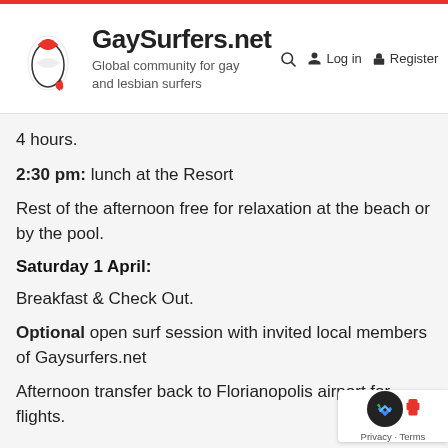GaySurfers.net — Global community for gay and lesbian surfers
4 hours.
2:30 pm: lunch at the Resort
Rest of the afternoon free for relaxation at the beach or by the pool.
Saturday 1 April:
Breakfast & Check Out.
Optional open surf session with invited local members of Gaysurfers.net
Afternoon transfer back to Florianopolis airport for flights.